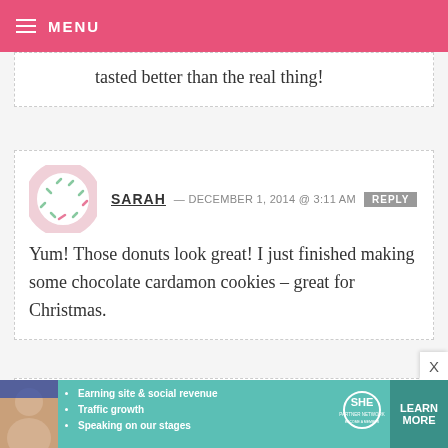MENU
tasted better than the real thing!
SARAH — DECEMBER 1, 2014 @ 3:11 AM REPLY
Yum! Those donuts look great! I just finished making some chocolate cardamon cookies – great for Christmas.
JOEYFROMSC — DECEMBER 1, 2014 @ 3:10 AM
[Figure (infographic): SHE Partner Network advertisement banner with woman photo, bullet points about earning site & social revenue, traffic growth, speaking on our stages, SHE logo, and LEARN MORE button]